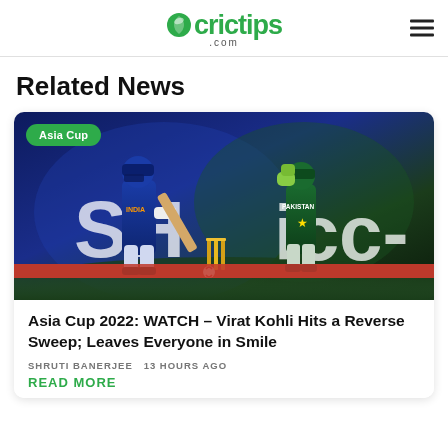crictips .com
Related News
[Figure (photo): Cricket match photo showing an Indian batsman playing a reverse sweep with a Pakistani wicket-keeper behind the stumps. 'Asia Cup' badge overlaid on top left. Background shows 'SH' and 'ICC' large white letters on stadium boards.]
Asia Cup
Asia Cup 2022: WATCH – Virat Kohli Hits a Reverse Sweep; Leaves Everyone in Smile
SHRUTI BANERJEE  13 HOURS AGO
READ MORE